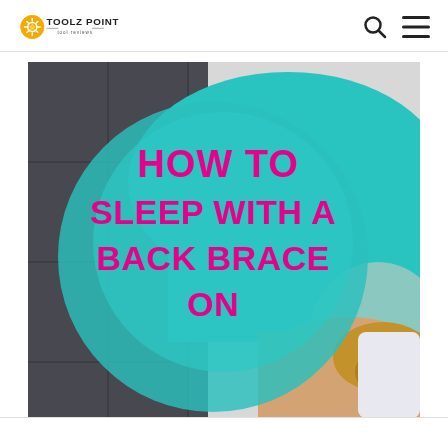TOOLZ POINT - tool reviews
[Figure (photo): A woman lying on her side wearing a teal/aqua top and dark gray pants, with text overlay reading 'HOW TO SLEEP WITH A BACK BRACE ON' in bold magenta/pink text on a teal circular background. This is a header image for an article about sleeping with a back brace.]